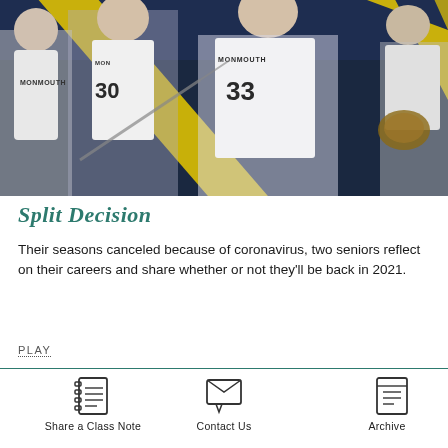[Figure (photo): Sports photo collage of Monmouth University athletes in white jerseys with numbers 30 and 33, lacrosse and baseball players, against a yellow and dark blue diagonal stripe background]
Split Decision
Their seasons canceled because of coronavirus, two seniors reflect on their careers and share whether or not they'll be back in 2021.
PLAY
[Figure (illustration): Notebook/notepad icon for Share a Class Note]
Share a Class Note
[Figure (illustration): Envelope/mail icon for Contact Us]
Contact Us
[Figure (illustration): Archive/book icon for Archive]
Archive